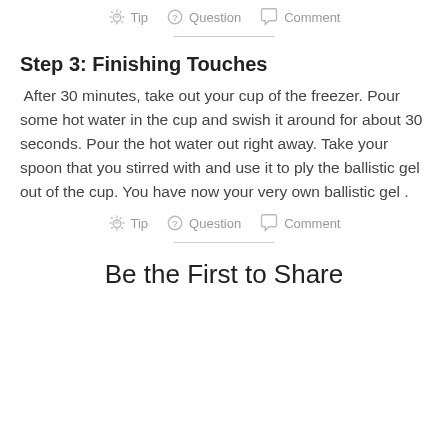Tip  Question  Comment
Step 3: Finishing Touches
After 30 minutes, take out your cup of the freezer. Pour some hot water in the cup and swish it around for about 30 seconds. Pour the hot water out right away. Take your spoon that you stirred with and use it to ply the ballistic gel out of the cup. You have now your very own ballistic gel .
Tip  Question  Comment
Be the First to Share